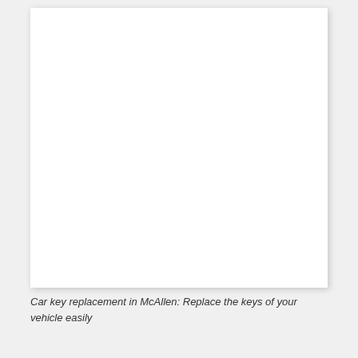[Figure (other): White blank rectangular card/image placeholder with drop shadow on light gray background]
Car key replacement in McAllen: Replace the keys of your vehicle easily